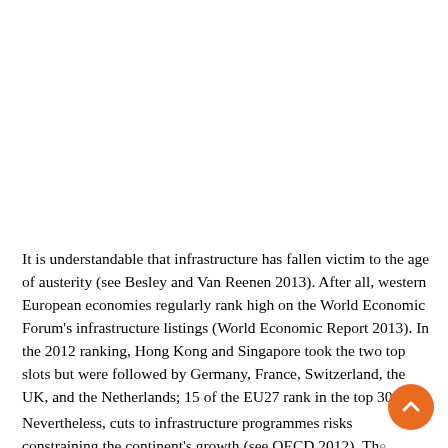It is understandable that infrastructure has fallen victim to the age of austerity (see Besley and Van Reenen 2013). After all, western European economies regularly rank high on the World Economic Forum's infrastructure listings (World Economic Report 2013). In the 2012 ranking, Hong Kong and Singapore took the two top slots but were followed by Germany, France, Switzerland, the UK, and the Netherlands; 15 of the EU27 rank in the top 30.
Nevertheless, cuts to infrastructure programmes risks constraining the continent's growth (see OECD 2012). The amount Europe invests in infrastructure needs to rise, not fall,